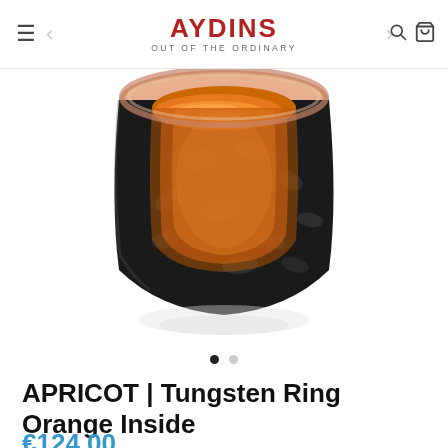AYDINS OUT OF THE ORDINARY
[Figure (photo): A black tungsten ring with orange interior lining and a rose gold top edge, photographed against a white background with a subtle reflection beneath. The ring shows a hammered or textured black exterior finish.]
APRICOT | Tungsten Ring Orange Inside
€124,00